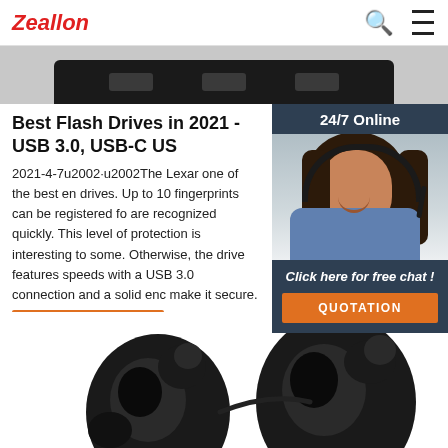Zeallon
[Figure (photo): Top portion of a black device (USB hub or similar) against a gray background]
Best Flash Drives in 2021 - USB 3.0, USB-C US
2021-4-7u2002·u2002The Lexar one of the best en drives. Up to 10 fingerprints can be registered fo are recognized quickly. This level of protection is interesting to some. Otherwise, the drive features speeds with a USB 3.0 connection and a solid enc make it secure.
[Figure (photo): 24/7 Online support widget with a woman wearing a headset and a 'Click here for free chat!' button and QUOTATION button]
[Figure (other): Get Price orange button]
[Figure (photo): Black wireless earbuds at the bottom of the page]